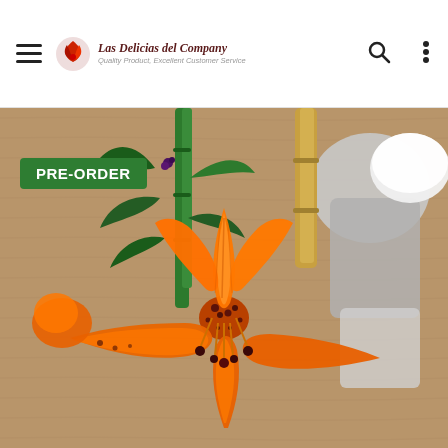Las Delicias del Company - Quality Product, Excellent Customer Service
[Figure (photo): Close-up photograph of a vibrant orange tiger lily flower with dark spotted stamens, alongside green bamboo stalks and grey ceramic/pottery items in the background. A green 'PRE-ORDER' badge is overlaid on the upper left of the image.]